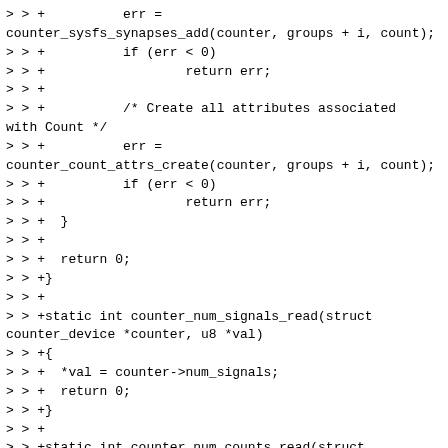> > +          err =
counter_sysfs_synapses_add(counter, groups + i, count);
> > +          if (err < 0)
> > +                  return err;
> > +
> > +          /* Create all attributes associated with Count */
> > +          err =
counter_count_attrs_create(counter, groups + i, count);
> > +          if (err < 0)
> > +                  return err;
> > +  }
> > +
> > +  return 0;
> > +}
> > +
> > +static int counter_num_signals_read(struct counter_device *counter, u8 *val)
> > +{
> > +  *val = counter->num_signals;
> > +  return 0;
> > +}
> > +
> > +static int counter_num_counts_read(struct counter_device *counter, u8 *val)
> > +{
> > +  *val = counter->num_counts;
> > +  return 0;
> > +}
> > +